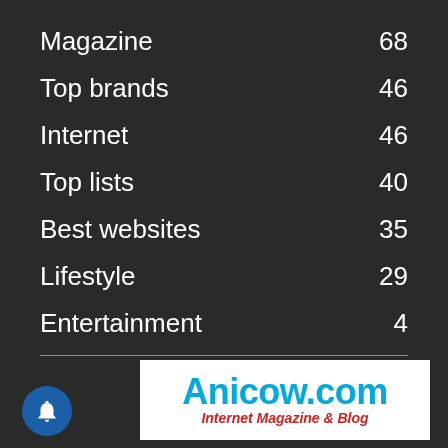Magazine 68
Top brands 46
Internet 46
Top lists 40
Best websites 35
Lifestyle 29
Entertainment 4
Travel 3
Technology 2
[Figure (logo): Anicow.com Internet Magazine & Blog logo with blue text and red subtitle, alongside a blue circular notification bell icon]